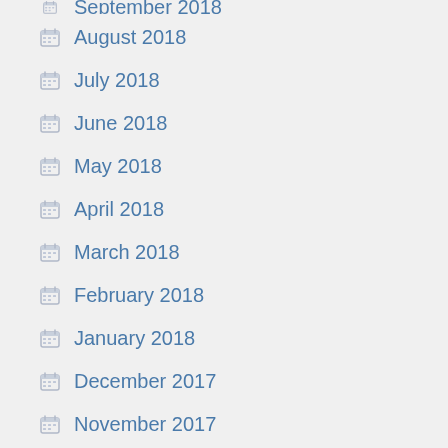September 2018 (partial, top cut off)
August 2018
July 2018
June 2018
May 2018
April 2018
March 2018
February 2018
January 2018
December 2017
November 2017
October 2017
September 2017
August 2017
July 2017 (partial, bottom cut off)